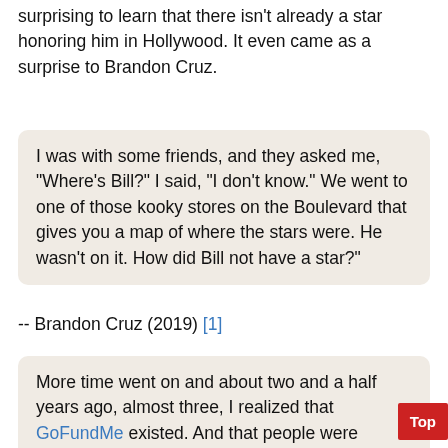surprising to learn that there isn't already a star honoring him in Hollywood. It even came as a surprise to Brandon Cruz.
I was with some friends, and they asked me, "Where's Bill?" I said, "I don't know." We went to one of those kooky stores on the Boulevard that gives you a map of where the stars were. He wasn't on it. How did Bill not have a star?"
-- Brandon Cruz (2019) [1]
More time went on and about two and a half years ago, almost three, I realized that GoFundMe existed. And that people were getting a lot